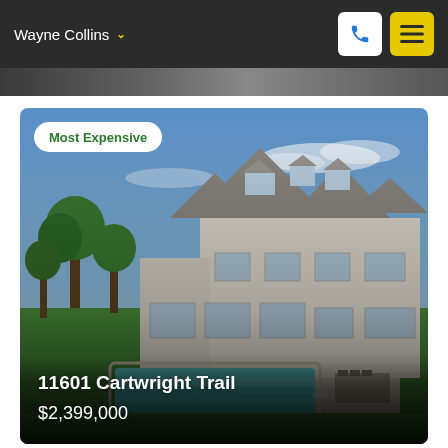Wayne Collins
[Figure (photo): Exterior rear view of a large two-story white house with multiple gabled dormers, showing a large rectangular swimming pool in a manicured lawn, surrounded by green trees under a blue sky.]
Most Expensive
11601 Cartwright Trail
$2,399,000